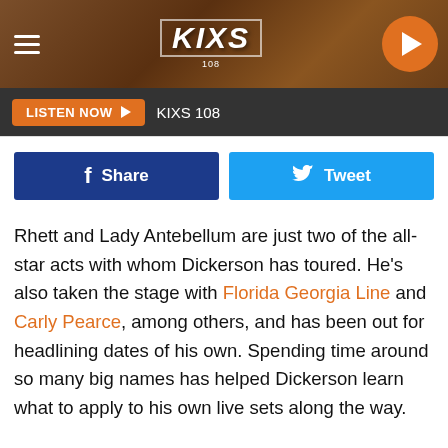[Figure (logo): KIXS 108 radio station website header with hamburger menu, KIXS logo, and orange play button on a brown textured background]
LISTEN NOW ▶  KIXS 108
[Figure (screenshot): Facebook Share button (dark blue) and Twitter Tweet button (light blue) side by side]
Rhett and Lady Antebellum are just two of the all-star acts with whom Dickerson has toured. He's also taken the stage with Florida Georgia Line and Carly Pearce, among others, and has been out for headlining dates of his own. Spending time around so many big names has helped Dickerson learn what to apply to his own live sets along the way.
"I always watch these huge artists do their show because I want to learn from them. I want to know what do they do that makes the crowd react, and why did the crowd react?"